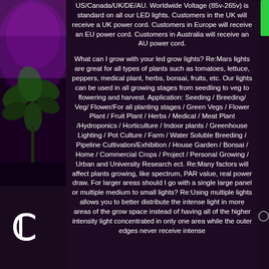[Figure (photo): Left side strip showing a plant under purple/pink LED grow light with dark background]
US/Canada/UK/DE/AU. Worldwide Voltage (85v-265v) is standard on all our LED lights. Customers in the UK will receive a UK power cord. Customers in Europe will receive an EU power cord. Customers in Australia will receive an AU power cord.

What can I grow with your led grow lights? Re:Mars lights are great for all types of plants such as tomatoes, lettuce, peppers, medical plant, herbs, bonsai, fruits, etc. Our lights can be used in all growing stages from seedling to veg to flowering and harvest. Application: Seeding / Breeding/ Veg/ Flower/For all planting stages / Green Vegs / Flower Plant / Fruit Plant / Herbs / Medical / Meat Plant /Hydroponics / Horticulture / Indoor plants / Greenhouse Lighting / Pot Culture / Farm / Water Soluble Breeding / Pipeline Cultivation/Exhibition / House Garden / Bonsai / Home / Commercial Crops / Project / Personal Growing / Urban and University Research ect. Re:Many factors will affect plants growing, like spectrum, PAR value, real power draw. For larger areas should I go with a single large panel or multiple medium to small lights? Re:Using multiple lights allows you to better distribute the intense light in more areas of the grow space instead of having all of the higher intensity light concentrated in only one area while the outer edges never receive intense
[Figure (logo): CE certification mark in white on dark background, bottom left corner]